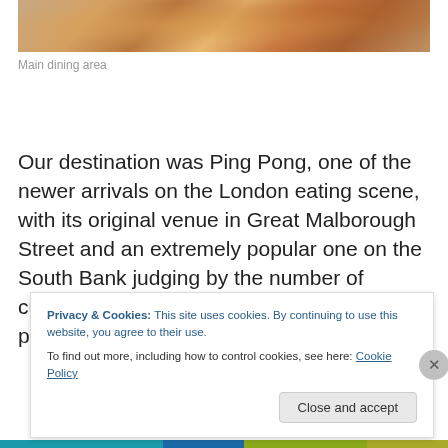[Figure (photo): Partial view of main dining area showing table with food items, warm tones]
Main dining area
Our destination was Ping Pong, one of the newer arrivals on the London eating scene, with its original venue in Great Malborough Street and an extremely popular one on the South Bank judging by the number of customers I spy there on my frequent walks past on the way to the Festival
Privacy & Cookies: This site uses cookies. By continuing to use this website, you agree to their use.
To find out more, including how to control cookies, see here: Cookie Policy